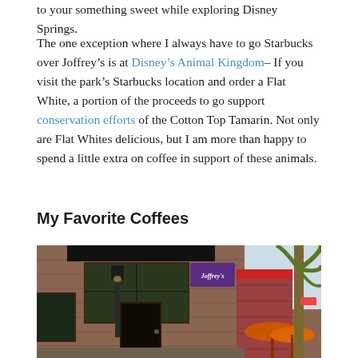to your something sweet while exploring Disney Springs.
The one exception where I always have to go Starbucks over Joffrey’s is at Disney’s Animal Kingdom– If you visit the park’s Starbucks location and order a Flat White, a portion of the proceeds to go support conservation efforts of the Cotton Top Tamarin. Not only are Flat Whites delicious, but I am more than happy to spend a little extra on coffee in support of these animals.
My Favorite Coffees
[Figure (photo): Exterior photograph of a Joffrey's Coffee shop location in a brick building with large dark windows, a black awning, purple sign with Joffrey's branding, a lamp post, and palm trees visible to the right with orange umbrellas in the background.]